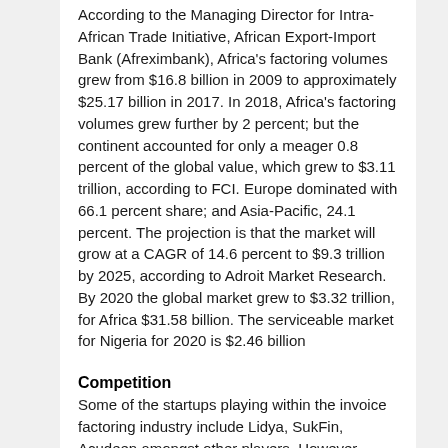According to the Managing Director for Intra-African Trade Initiative, African Export-Import Bank (Afreximbank), Africa's factoring volumes grew from $16.8 billion in 2009 to approximately $25.17 billion in 2017. In 2018, Africa's factoring volumes grew further by 2 percent; but the continent accounted for only a meager 0.8 percent of the global value, which grew to $3.11 trillion, according to FCI. Europe dominated with 66.1 percent share; and Asia-Pacific, 24.1 percent. The projection is that the market will grow at a CAGR of 14.6 percent to $9.3 trillion by 2025, according to Adroit Market Research. By 2020 the global market grew to $3.32 trillion, for Africa $31.58 billion. The serviceable market for Nigeria for 2020 is $2.46 billion
Competition
Some of the startups playing within the invoice factoring industry include Lidya, SukFin, Acudeen amongst other players. However, none of them are women's businesses focused nor have a